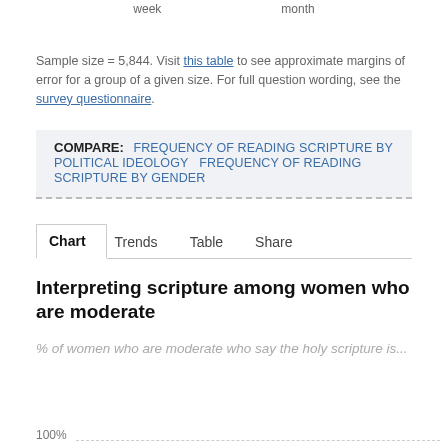week   month
Sample size = 5,844. Visit this table to see approximate margins of error for a group of a given size. For full question wording, see the survey questionnaire.
COMPARE: FREQUENCY OF READING SCRIPTURE BY POLITICAL IDEOLOGY   FREQUENCY OF READING SCRIPTURE BY GENDER
Chart   Trends   Table   Share
Interpreting scripture among women who are moderate
% of women who are moderate who say the holy scripture is...
100%